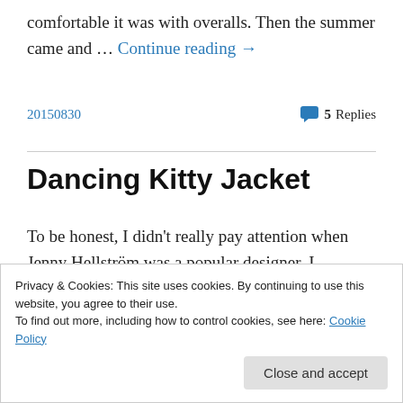comfortable it was with overalls. Then the summer came and … Continue reading →
20150830   5 Replies
Dancing Kitty Jacket
To be honest, I didn't really pay attention when Jenny Hellström was a popular designer, I probably should have though. Her philosophy on sewing, redesign and ecology is close to my own, not to mention that her designs and
Privacy & Cookies: This site uses cookies. By continuing to use this website, you agree to their use.
To find out more, including how to control cookies, see here: Cookie Policy
Close and accept